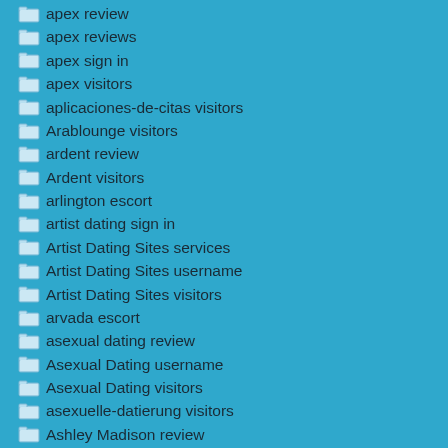apex review
apex reviews
apex sign in
apex visitors
aplicaciones-de-citas visitors
Arablounge visitors
ardent review
Ardent visitors
arlington escort
artist dating sign in
Artist Dating Sites services
Artist Dating Sites username
Artist Dating Sites visitors
arvada escort
asexual dating review
Asexual Dating username
Asexual Dating visitors
asexuelle-datierung visitors
Ashley Madison review
Ashley Madison visitors
asiame dating
asiame review
asiame reviews
asiame visitors